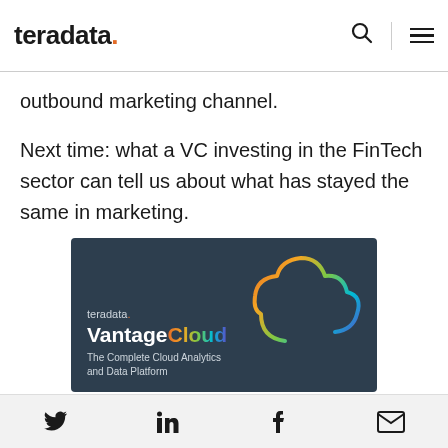teradata.
outbound marketing channel.
Next time: what a VC investing in the FinTech sector can tell us about what has stayed the same in marketing.
[Figure (advertisement): Teradata VantageCloud advertisement banner on dark background with cloud graphic. Text: teradata. VantageCloud The Complete Cloud Analytics and Data Platform]
Twitter, LinkedIn, Facebook, Email share icons